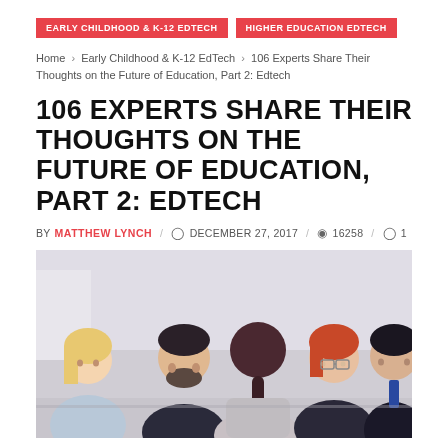EARLY CHILDHOOD & K-12 EDTECH | HIGHER EDUCATION EDTECH
Home › Early Childhood & K-12 EdTech › 106 Experts Share Their Thoughts on the Future of Education, Part 2: Edtech
106 EXPERTS SHARE THEIR THOUGHTS ON THE FUTURE OF EDUCATION, PART 2: EDTECH
BY MATTHEW LYNCH / DECEMBER 27, 2017 / 16258 / 1
[Figure (photo): A group of five professionals seated around a conference table in a meeting setting. One person with a dark red braided ponytail is seen from behind while four others face her, including a blonde woman, a bearded man, a woman with glasses and red hair, and a dark-haired man in a suit.]